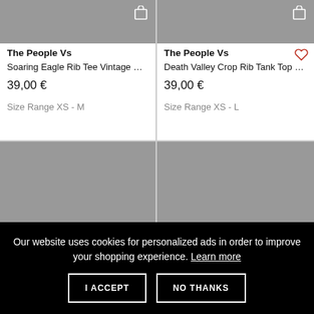[Figure (screenshot): Product card top - Soaring Eagle Rib Tee Vintage Black with cart icon, grey image area]
The People Vs
Soaring Eagle Rib Tee Vintage Black
39,00 €
Size Range XS - M
[Figure (screenshot): Product card top - Death Valley Crop Rib Tank Top Vintage Wh... with wishlist heart icon and cart icon, grey image area]
The People Vs
Death Valley Crop Rib Tank Top Vintage Wh...
39,00 €
Size Range XS - L
[Figure (screenshot): Second row left product card - grey image placeholder with chevron arrow]
[Figure (screenshot): Second row right product card - grey image placeholder with chevron arrow]
Our website uses cookies for personalized ads in order to improve your shopping experience. Learn more
I ACCEPT
NO THANKS